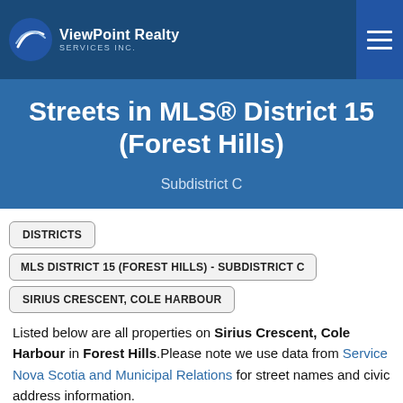ViewPoint Realty Services Inc.
Streets in MLS® District 15 (Forest Hills)
Subdistrict C
DISTRICTS
MLS DISTRICT 15 (FOREST HILLS) - SUBDISTRICT C
SIRIUS CRESCENT, COLE HARBOUR
Listed below are all properties on Sirius Crescent, Cole Harbour in Forest Hills.Please note we use data from Service Nova Scotia and Municipal Relations for street names and civic address information.
Properties are not for sale unless otherwise marked.
You can access detailed information including sold prices by registering for a free account.